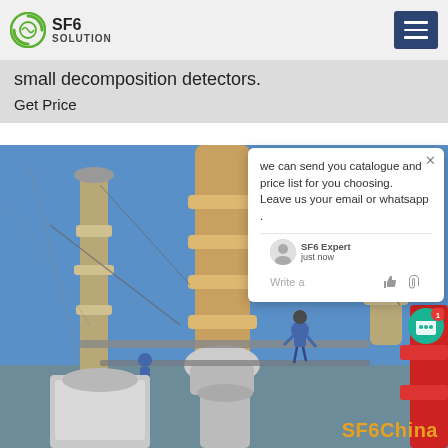SF6 SOLUTION
small decomposition detectors.
Get Price
[Figure (photo): Workers in hard hats performing maintenance on large high-voltage electrical transformers or circuit breakers at a substation. Tall cylindrical insulator columns and scaffolding visible. A red crane arm is visible at the right. Blue sky background. SF6China watermark at bottom right.]
we can send you catalogue and price list for you choosing.
Leave us your email or whatsapp .

SF6 Expert   just now
Write a